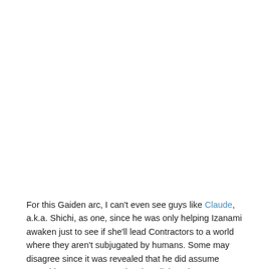For this Gaiden arc, I can't even see guys like Claude, a.k.a. Shichi, as one, since he was only helping Izanami awaken just to see if she'll lead Contractors to a world where they aren't subjugated by humans. Some may disagree since it was revealed that he did assume Amagiri's appearance to deceive all the other ex-FPR